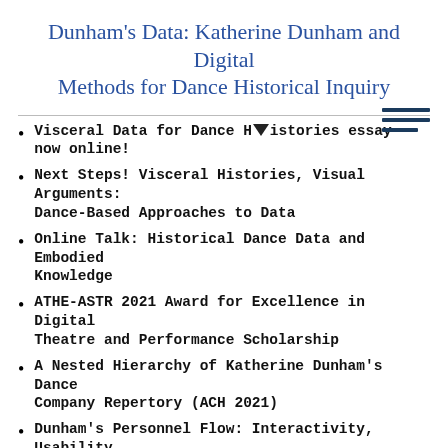Dunham's Data: Katherine Dunham and Digital Methods for Dance Historical Inquiry
Visceral Data for Dance Histories essay now online!
Next Steps! Visceral Histories, Visual Arguments: Dance-Based Approaches to Data
Online Talk: Historical Dance Data and Embodied Knowledge
ATHE-ASTR 2021 Award for Excellence in Digital Theatre and Performance Scholarship
A Nested Hierarchy of Katherine Dunham's Dance Company Repertory (ACH 2021)
Dunham's Personnel Flow: Interactivity, Usability
Data Brunch Podcast with Ambyr Amen-Ra
Scott deLahunta - On Dance and Data Creation